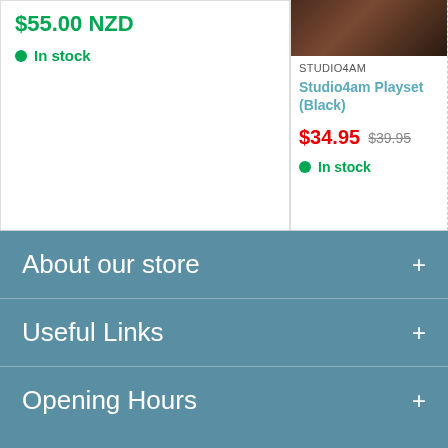$55.00 NZD
In stock
[Figure (photo): Product image showing a dark brown/black playset item]
STUDIO4AM
Studio4am Playset (Black)
$34.95 $39.95
In stock
About our store
Useful Links
Opening Hours